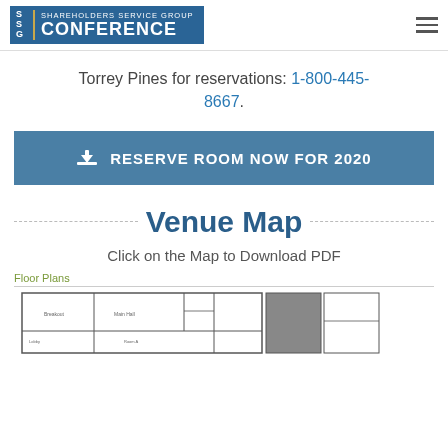Shareholders Service Group CONFERENCE
Torrey Pines for reservations: 1-800-445-8667.
RESERVE ROOM NOW FOR 2020
Venue Map
Click on the Map to Download PDF
Floor Plans
[Figure (schematic): Hotel floor plan schematic showing room layouts]